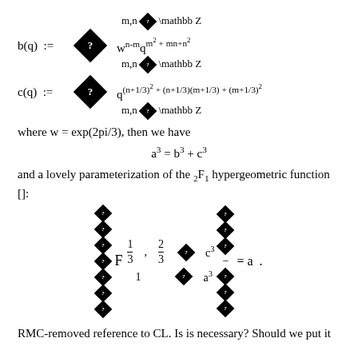where w = exp(2pi/3), then we have
and a lovely parameterization of the 2F1 hypergeometric function []:
RMC-removed reference to CL. Is is necessary? Should we put it